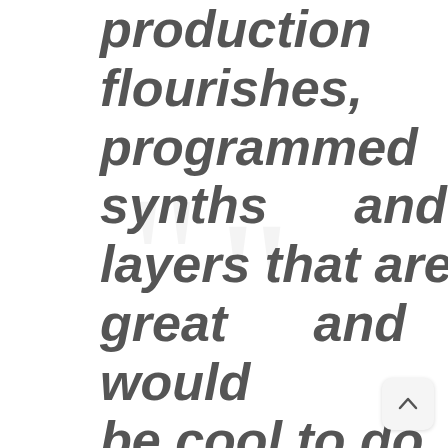production flourishes, programmed synths and layers that are great and would be cool to do live, but we only have so many hands, and we felt we should just lean into it with the guitars